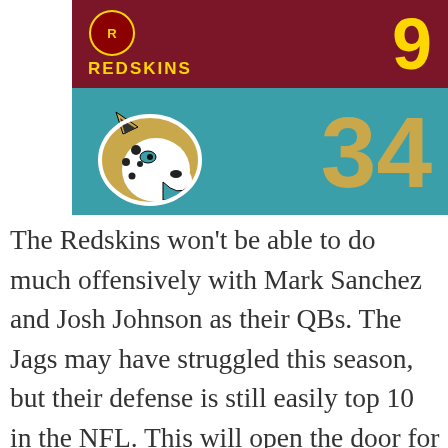[Figure (infographic): NFL game scoreboard showing Redskins 9 vs Jaguars 34. Top half has dark red background with Redskins logo and text, score 9 in gold. Bottom half has teal background with Jacksonville Jaguars logo, score 34 in gold.]
The Redskins won't be able to do much offensively with Mark Sanchez and Josh Johnson as their QBs. The Jags may have struggled this season, but their defense is still easily top 10 in the NFL. This will open the door for young QB Cody Kessler and the Jaguars to put up a strong offensive game in a blowout win. The Redskins defense will lack motivation considering how badly the offense is doing.